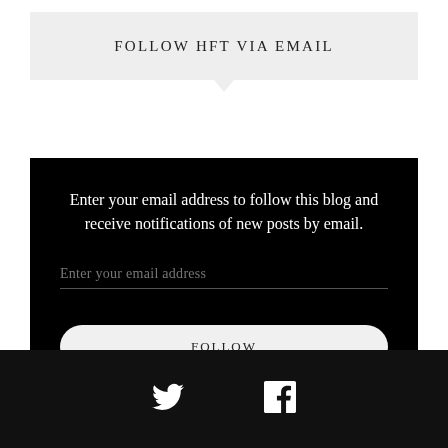FOLLOW HFT VIA EMAIL
Enter your email address to follow this blog and receive notifications of new posts by email.
Enter your email address
FOLLOW
[Figure (illustration): Twitter bird icon and Facebook logo icon in white on black footer bar]